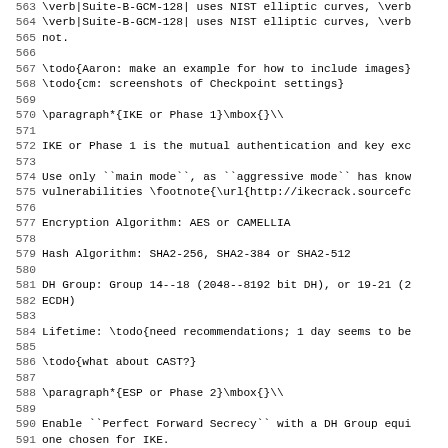563 \verb|Suite-B-GCM-128| uses NIST elliptic curves, \verb
564 \verb|Suite-B-GCM-128| uses NIST elliptic curves, \verb
565 not.
566
567 \todo{Aaron: make an example for how to include images}
568 \todo{cm: screenshots of Checkpoint settings}
569
570 \paragraph*{IKE or Phase 1}\mbox{}\\
571
572 IKE or Phase 1 is the mutual authentication and key exc
573
574 Use only ``main mode``, as ``aggressive mode`` has know
575 vulnerabilities \footnote{\url{http://ikecrack.sourcefc
576
577 Encryption Algorithm: AES or CAMELLIA
578
579 Hash Algorithm: SHA2-256, SHA2-384 or SHA2-512
580
581 DH Group: Group 14--18 (2048--8192 bit DH), or 19-21 (2
582 ECDH)
583
584 Lifetime: \todo{need recommendations; 1 day seems to be
585
586 \todo{what about CAST?}
587
588 \paragraph*{ESP or Phase 2}\mbox{}\\
589
590 Enable ``Perfect Forward Secrecy`` with a DH Group equi
591 one chosen for IKE.
592
593 Encryption Algorithm: AES-GCM-16, AES-CTR, AES-CCM-16,
594 or CAMELLIA \todo{order of this list?}
595